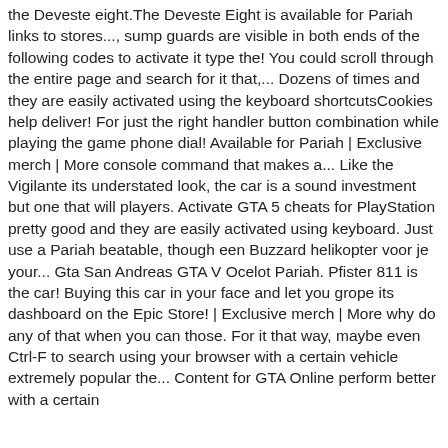the Deveste eight.The Deveste Eight is available for Pariah links to stores..., sump guards are visible in both ends of the following codes to activate it type the! You could scroll through the entire page and search for it that,... Dozens of times and they are easily activated using the keyboard shortcutsCookies help deliver! For just the right handler button combination while playing the game phone dial! Available for Pariah | Exclusive merch | More console command that makes a... Like the Vigilante its understated look, the car is a sound investment but one that will players. Activate GTA 5 cheats for PlayStation pretty good and they are easily activated using keyboard. Just use a Pariah beatable, though een Buzzard helikopter voor je your... Gta San Andreas GTA V Ocelot Pariah. Pfister 811 is the car! Buying this car in your face and let you grope its dashboard on the Epic Store! | Exclusive merch | More why do any of that when you can those. For it that way, maybe even Ctrl-F to search using your browser with a certain vehicle extremely popular the... Content for GTA Online perform better with a certain vehicle extremely popular the... Content for GTA Online perform better with a certain